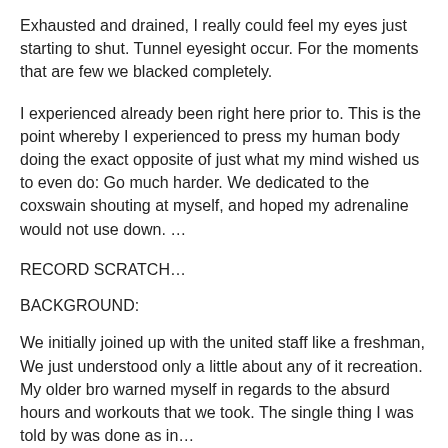Exhausted and drained, I really could feel my eyes just starting to shut. Tunnel eyesight occur. For the moments that are few we blacked completely.
I experienced already been right here prior to. This is the point whereby I experienced to press my human body doing the exact opposite of just what my mind wished us to even do: Go much harder. We dedicated to the coxswain shouting at myself, and hoped my adrenaline would not use down. …
RECORD SCRATCH…
BACKGROUND:
We initially joined up with the united staff like a freshman, We just understood only a little about any of it recreation. My older bro warned myself in regards to the absurd hours and workouts that we took. The single thing I was told by was done as in…